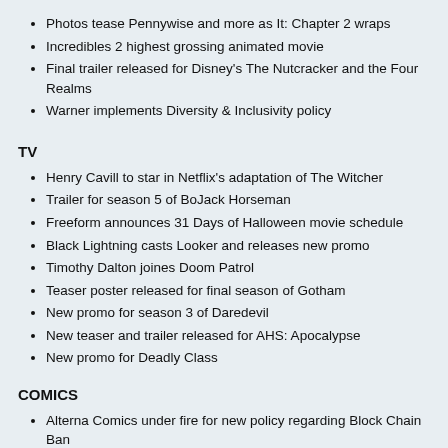Photos tease Pennywise and more as It: Chapter 2 wraps
Incredibles 2 highest grossing animated movie
Final trailer released for Disney's The Nutcracker and the Four Realms
Warner implements Diversity & Inclusivity policy
TV
Henry Cavill to star in Netflix's adaptation of The Witcher
Trailer for season 5 of BoJack Horseman
Freeform announces 31 Days of Halloween movie schedule
Black Lightning casts Looker and releases new promo
Timothy Dalton joines Doom Patrol
Teaser poster released for final season of Gotham
New promo for season 3 of Daredevil
New teaser and trailer released for AHS: Apocalypse
New promo for Deadly Class
COMICS
Alterna Comics under fire for new policy regarding Block Chain Ban
Guardians of the Galaxy to be relaunched in 2019
Grant Morrison working on The Green Lantern
DC releases images of Dark Multiverse twisted Silver Age characters